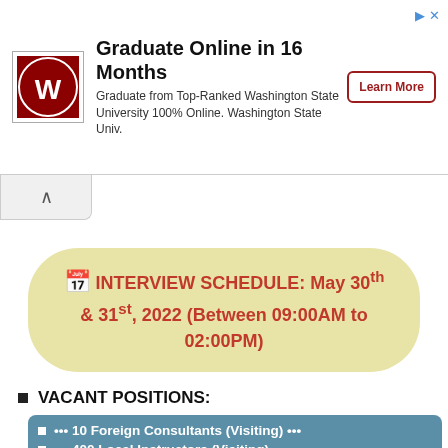[Figure (infographic): Advertisement banner for Washington State University online program with WSU logo, title 'Graduate Online in 16 Months', description text, and 'Learn More' button]
INTERVIEW SCHEDULE: May 30th & 31st, 2022 (Between 09:00AM to 02:00PM)
VACANT POSITIONS:
••• 10 Foreign Consultants (Visiting) •••
••• 400 Local Instructors (Visiting) •••
Allied Health Sciences
Nurses
Emergency Medical Technician